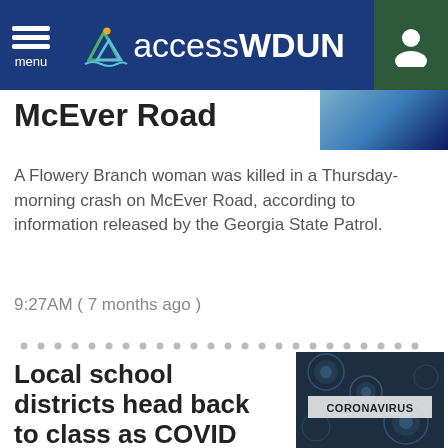menu | accessWDUN
McEver Road
A Flowery Branch woman was killed in a Thursday-morning crash on McEver Road, according to information released by the Georgia State Patrol.
9:27AM ( 7 months ago )
Local school districts head back to class as COVID cases surge
Local school districts are in the final days of Christmas break, ready to open up classrooms next week as COVID case numbers surge.